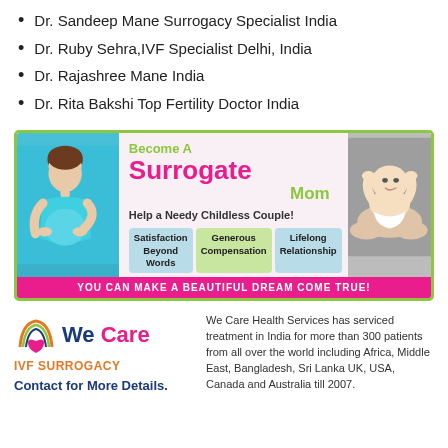Dr. Sandeep Mane Surrogacy Specialist India
Dr. Ruby Sehra,IVF Specialist Delhi, India
Dr. Rajashree Mane India
Dr. Rita Bakshi Top Fertility Doctor India
[Figure (infographic): Surrogate mother advertisement banner with pregnant woman image, baby image, text 'Become A Surrogate Mom', 'Help a Needy Childless Couple!', three benefit pills (Satisfaction Beyond Words, Generous Compensation, Lifelong Relationship), and bottom bar 'YOU CAN MAKE A BEAUTIFUL DREAM COME TRUE!']
[Figure (logo): We Care IVF Surrogacy logo with rainbow arc and heart icon]
We Care Health Services has serviced treatment in India for more than 300 patients from all over the world including Africa, Middle East, Bangladesh, Sri Lanka UK, USA, Canada and Australia till 2007.
Contact for More Details.